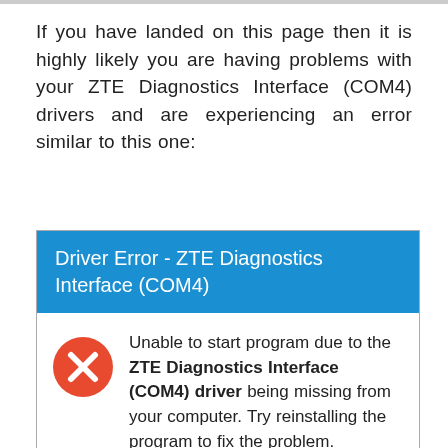If you have landed on this page then it is highly likely you are having problems with your ZTE Diagnostics Interface (COM4) drivers and are experiencing an error similar to this one:
[Figure (screenshot): Error dialog box with blue header reading 'Driver Error - ZTE Diagnostics Interface (COM4)' and white body showing a red error icon with an X and text: 'Unable to start program due to the ZTE Diagnostics Interface (COM4) driver being missing from your computer. Try reinstalling the program to fix the problem.']